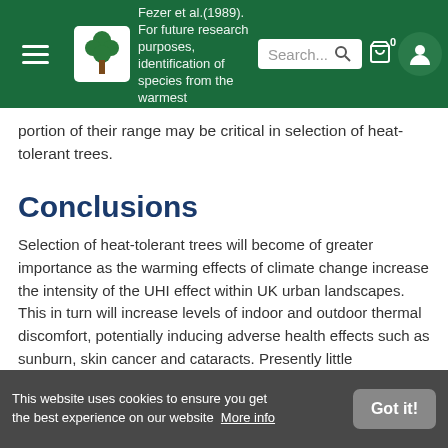Fezer et al.(1989). For future research purposes, identification of species from the warmest portion of their range may be critical in selection of heat-tolerant trees.
Conclusions
Selection of heat-tolerant trees will become of greater importance as the warming effects of climate change increase the intensity of the UHI effect within UK urban landscapes. This in turn will increase levels of indoor and outdoor thermal discomfort, potentially inducing adverse health effects such as sunburn, skin cancer and cataracts. Presently little information exists regarding the heat tolerance of urban trees. The information that is available recognises that trees possess physiological and biochemical
This website uses cookies to ensure you get the best experience on our website  More info  Got it!